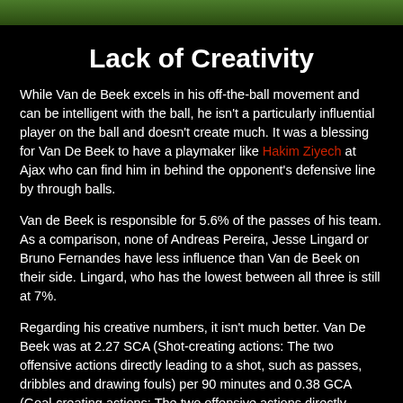[Figure (photo): Top banner image showing a green football/soccer pitch from above]
Lack of Creativity
While Van de Beek excels in his off-the-ball movement and can be intelligent with the ball, he isn't a particularly influential player on the ball and doesn't create much. It was a blessing for Van De Beek to have a playmaker like Hakim Ziyech at Ajax who can find him in behind the opponent's defensive line by through balls.
Van de Beek is responsible for 5.6% of the passes of his team. As a comparison, none of Andreas Pereira, Jesse Lingard or Bruno Fernandes have less influence than Van de Beek on their side. Lingard, who has the lowest between all three is still at 7%.
Regarding his creative numbers, it isn't much better. Van De Beek was at 2.27 SCA (Shot-creating actions: The two offensive actions directly leading to a shot, such as passes, dribbles and drawing fouls) per 90 minutes and 0.38 GCA (Goal-creating actions: The two offensive actions directly leading to a goal which is which is…)